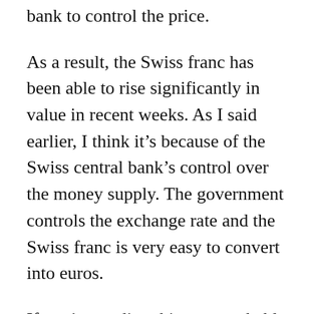bank to control the price.
As a result, the Swiss franc has been able to rise significantly in value in recent weeks. As I said earlier, I think it’s because of the Swiss central bank’s control over the money supply. The government controls the exchange rate and the Swiss franc is very easy to convert into euros.
If you’re reading this, you probably have an interest in the Swiss franc. As I’ve written before, the Swiss government needs the franc to buy Swiss government bonds. If the Swiss franc were to depreciate, they’d have to sell more of their